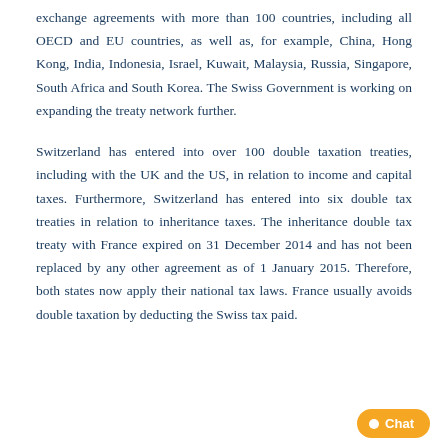exchange agreements with more than 100 countries, including all OECD and EU countries, as well as, for example, China, Hong Kong, India, Indonesia, Israel, Kuwait, Malaysia, Russia, Singapore, South Africa and South Korea. The Swiss Government is working on expanding the treaty network further.
Switzerland has entered into over 100 double taxation treaties, including with the UK and the US, in relation to income and capital taxes. Furthermore, Switzerland has entered into six double tax treaties in relation to inheritance taxes. The inheritance double tax treaty with France expired on 31 December 2014 and has not been replaced by any other agreement as of 1 January 2015. Therefore, both states now apply their national tax laws. France usually avoids double taxation by deducting the Swiss tax paid.